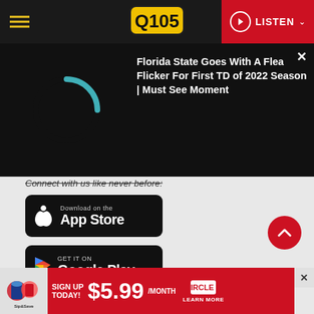Q105 | LISTEN
[Figure (screenshot): Video player overlay showing a loading spinner arc (teal/cyan) on black background with text: Florida State Goes With A Flea Flicker For First TD of 2022 Season | Must See Moment]
Connect with us like never before:
[Figure (logo): Download on the App Store button (black rounded rectangle with Apple logo)]
[Figure (logo): GET IT ON Google Play button (black rounded rectangle with Google Play triangle logo)]
[Figure (logo): Circle K advertisement banner: SIGN UP TODAY! $5.99/MONTH - LEARN MORE]